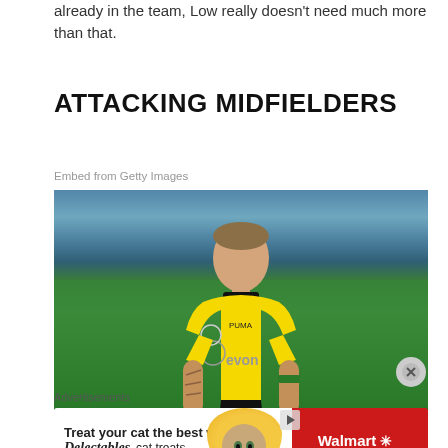already in the team, Low really doesn't need much more than that.
ATTACKING MIDFIELDERS
Embed from Getty Images
[Figure (photo): A footballer wearing a yellow Borussia Dortmund jersey with Evonik sponsor, Champions League badge, standing on a grass pitch with blue stadium stands in background.]
Advertisements
[Figure (other): Advertisement banner: Treat your cat the best with Delectables cat treats, featuring a cat image and Walmart branding on red background.]